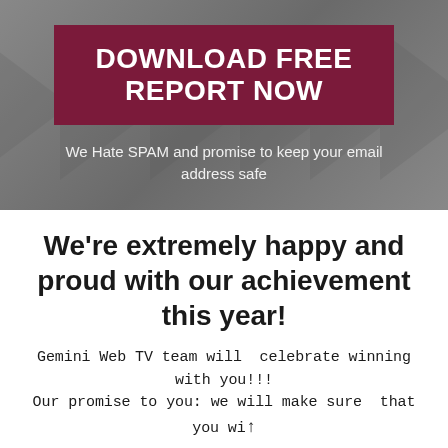DOWNLOAD FREE REPORT NOW
We Hate SPAM and promise to keep your email address safe
We're extremely happy and proud with our achievement this year!
Gemini Web TV team will celebrate winning with you!!!
Our promise to you: we will make sure that you will